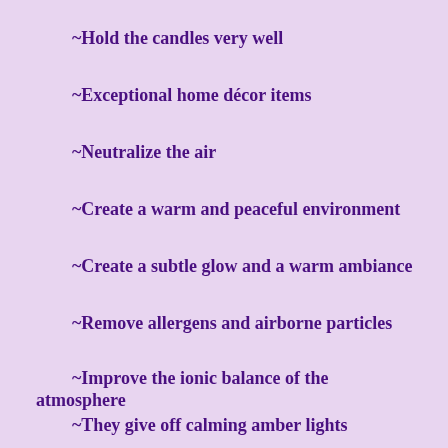~Hold the candles very well
~Exceptional home décor items
~Neutralize the air
~Create a warm and peaceful environment
~Create a subtle glow and a warm ambiance
~Remove allergens and airborne particles
~Improve the ionic balance of the atmosphere
~They give off calming amber lights